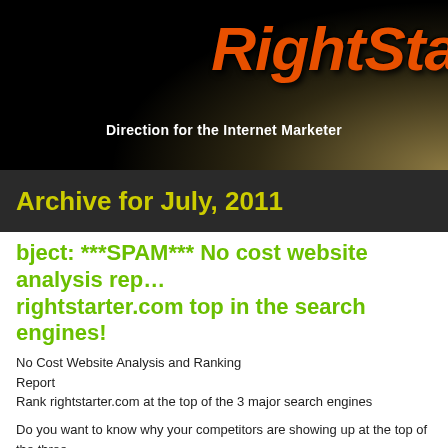[Figure (logo): RightStarter logo with orange italic text on black background with spotlight effect]
Direction for the Internet Marketer
Archive for July, 2011
bject: ***SPAM*** No cost website analysis rep… rightstarter.com top in the search engines!
No Cost Website Analysis and Ranking
Report
Rank rightstarter.com at the top of the 3 major search engines
Do you want to know why your competitors are showing up at the top of the three major search engines
and how you can rank on top?
To increase the number of visitors to your website it is crucial
that you have a top […]
bject: ***SPAM*** No cost website analysis rep…